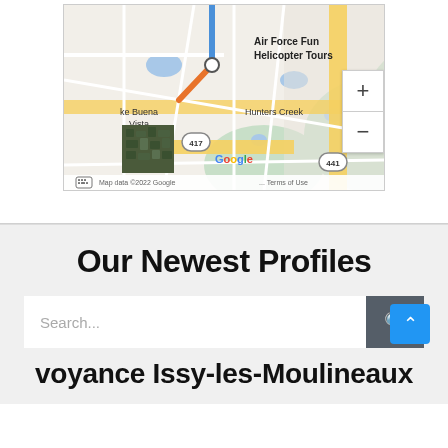[Figure (map): Google Maps screenshot showing Air Force Fun Helicopter Tours location near Lake Buena Vista, Hunters Creek, Florida. Route line shown in blue/orange. Roads 417 and 441 visible. Satellite thumbnail in lower left. Map data ©2022 Google.]
Our Newest Profiles
Search...
voyance Issy-les-Moulineaux